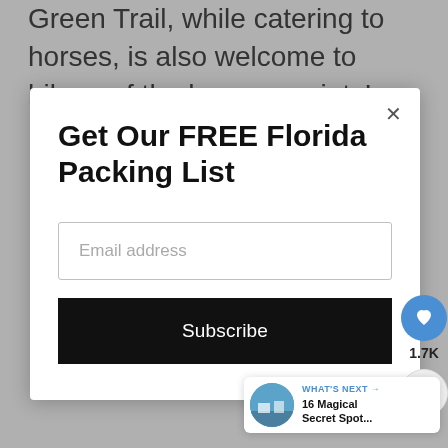Green Trail, while catering to horses, is also welcome to hikers of the human variety!
Get Our FREE Florida Packing List
Email address
Subscribe
1.7K
WHAT'S NEXT → 16 Magical Secret Spot...